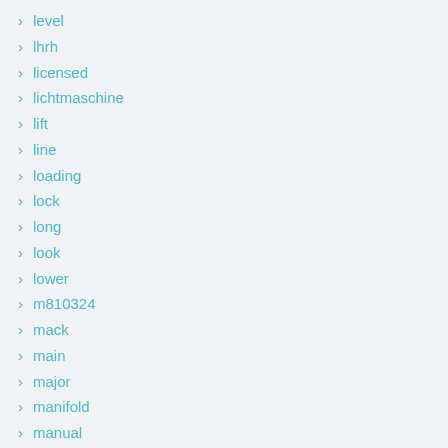level
lhrh
licensed
lichtmaschine
lift
line
loading
lock
long
look
lower
m810324
mack
main
major
manifold
manual
manufacturing
massive